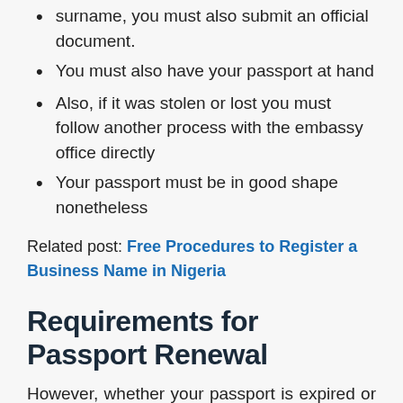surname, you must also submit an official document.
You must also have your passport at hand
Also, if it was stolen or lost you must follow another process with the embassy office directly
Your passport must be in good shape nonetheless
Related post: Free Procedures to Register a Business Name in Nigeria
Requirements for Passport Renewal
However, whether your passport is expired or it is about to expire,